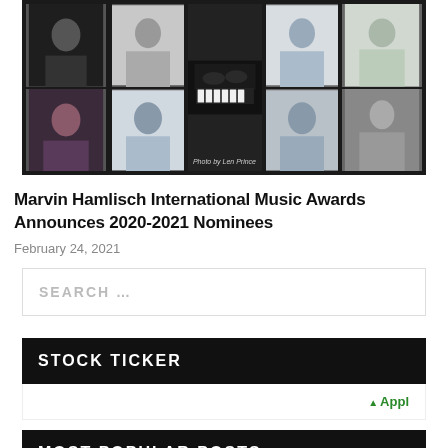[Figure (photo): Grid of musician portrait photos on dark background with 'Photo by Len Prince' credit]
Marvin Hamlisch International Music Awards Announces 2020-2021 Nominees
February 24, 2021
SEARCH ...
STOCK TICKER
↑ Appl
MOST POPULAR POSTS
[Figure (photo): Outdoor portrait photo of a person among bare winter trees]